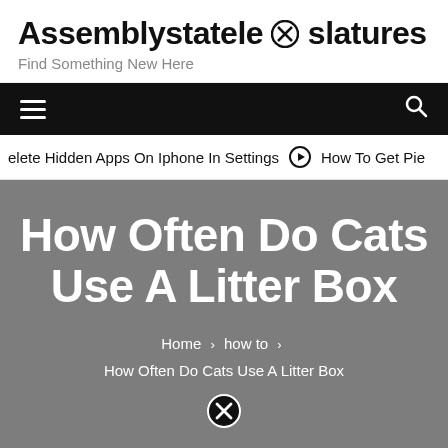Assemblystatelegislatures — Find Something New Here
≡   🔍
elete Hidden Apps On Iphone In Settings  ⊙  How To Get Pie
How Often Do Cats Use A Litter Box
Home > how to > How Often Do Cats Use A Litter Box